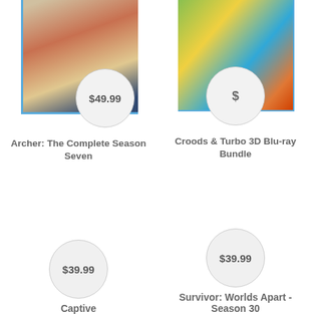[Figure (photo): Archer: The Complete Season Seven Blu-ray product image, partially cropped at top]
$49.99
Archer: The Complete Season Seven
[Figure (photo): Croods & Turbo 3D Blu-ray Bundle product image, partially cropped at top]
$
Croods & Turbo 3D Blu-ray Bundle
$39.99
Captive
$39.99
Survivor: Worlds Apart - Season 30